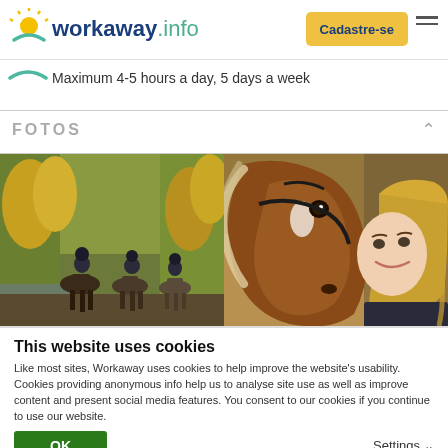workaway.info — Cadastre-se
Maximum 4-5 hours a day, 5 days a week
FOTOS
[Figure (photo): Two photos side by side: left photo shows horse riders from behind in an autumn forest; right photo shows a brown horse with a young blonde woman smiling.]
This website uses cookies
Like most sites, Workaway uses cookies to help improve the website's usability. Cookies providing anonymous info help us to analyse site use as well as improve content and present social media features.  You consent to our cookies if you continue to use our website.
OK
Settings